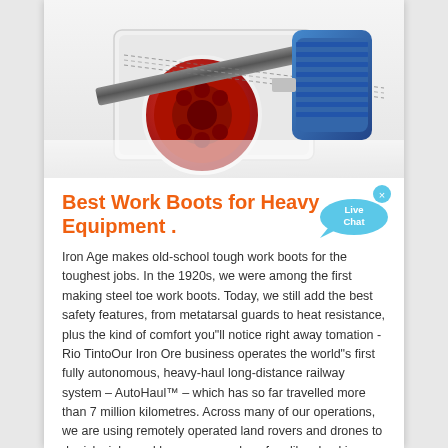[Figure (photo): Industrial machinery close-up showing a large red wheel/drum with cable/belt and a blue electric motor, white mechanical housing]
Best Work Boots for Heavy Equipment .
[Figure (illustration): Live Chat speech bubble icon in blue with white text 'Live Chat' and a small x close button]
Iron Age makes old-school tough work boots for the toughest jobs. In the 1920s, we were among the first making steel toe work boots. Today, we still add the best safety features, from metatarsal guards to heat resistance, plus the kind of comfort you"ll notice right away tomation - Rio TintoOur Iron Ore business operates the world"s first fully autonomous, heavy-haul long-distance railway system – AutoHaul™ – which has so far travelled more than 7 million kilometres. Across many of our operations, we are using remotely operated land rovers and drones to do risky jobs and keep our people safe – like checking high walls in ...